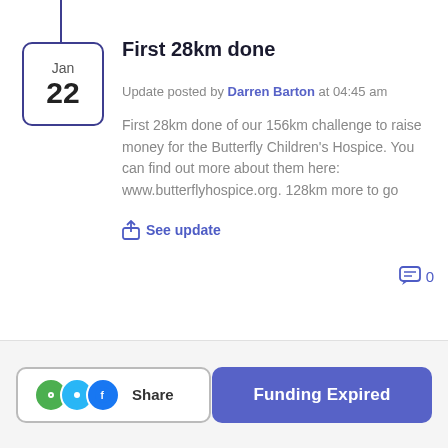First 28km done
Update posted by Darren Barton at 04:45 am
First 28km done of our 156km challenge to raise money for the Butterfly Children's Hospice. You can find out more about them here: www.butterflyhospice.org. 128km more to go
See update
0
Share
Funding Expired